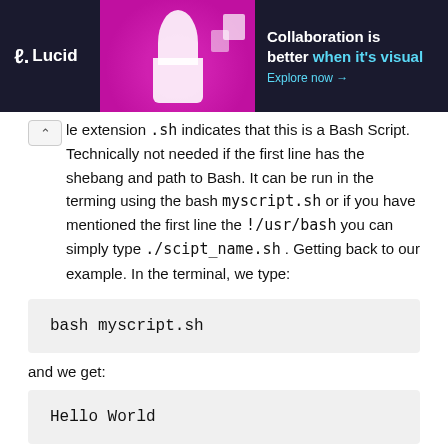[Figure (other): Lucid advertisement banner with dark background, person image and magenta graphic elements. Text: 'Collaboration is better when it's visual. Explore now →']
le extension .sh indicates that this is a Bash Script. Technically not needed if the first line has the shebang and path to Bash. It can be run in the terming using the bash myscript.sh or if you have mentioned the first line the !/usr/bash you can simply type ./scipt_name.sh . Getting back to our example. In the terminal, we type:
bash myscript.sh
and we get:
Hello World